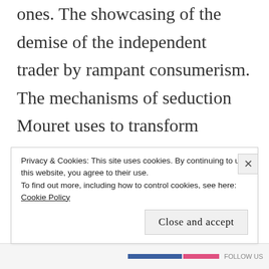ones. The showcasing of the demise of the independent trader by rampant consumerism. The mechanisms of seduction Mouret uses to transform everything for sale into an object of desire. The store leads women, driven by the euphoria of the sheer range of delights on offers and the bargains, into buying
Privacy & Cookies: This site uses cookies. By continuing to use this website, you agree to their use. To find out more, including how to control cookies, see here: Cookie Policy
Close and accept